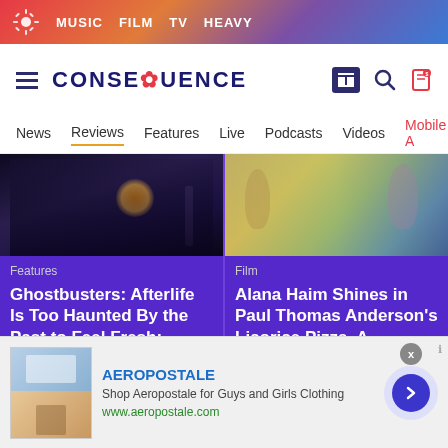MUSIC  FILM  TV  HEAVY
[Figure (screenshot): Consequence website logo and navigation header with hamburger menu, CONSEQUENCE logo, and icons]
News  Reviews  Features  Live  Podcasts  Videos  Mobile A
[Figure (photo): Dark scene with orange light flash - Ghostbusters movie still]
Features
Ghostbusters: Afterlife Is Too Haunted By the Past to Feel Fresh: Review
November 18, 2021
[Figure (photo): Outdoor daylight scene with people - Licorice Pizza movie still]
Film
Alana Haim Shines in Paul Thomas Anderson's Licorice Pizza, A Dizzying Ode To Young Love: Review
November 16, 2021
[Figure (screenshot): Aeropostale advertisement banner with clothing imagery]
AEROPOSTALE
Shop Aeropostale for Guys and Girls Clothing
www.aeropostale.com